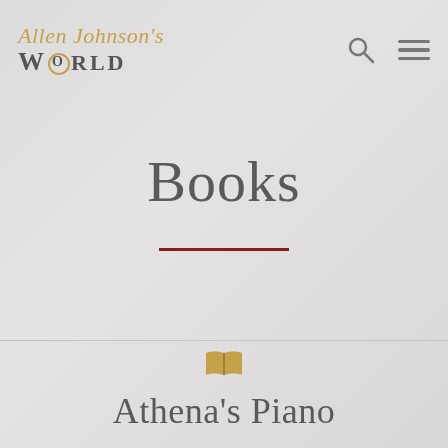[Figure (logo): Allen Johnson's World logo — cursive script 'Allen Johnson's' in gold above bold serif 'WORLD' in grey with decorative O]
Books
[Figure (illustration): Small open book icon in gold/amber color]
Athena's Piano